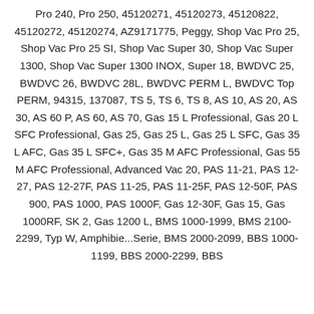Pro 240, Pro 250, 45120271, 45120273, 45120822, 45120272, 45120274, AZ9171775, Peggy, Shop Vac Pro 25, Shop Vac Pro 25 SI, Shop Vac Super 30, Shop Vac Super 1300, Shop Vac Super 1300 INOX, Super 18, BWDVC 25, BWDVC 26, BWDVC 28L, BWDVC PERM L, BWDVC Top PERM, 94315, 137087, TS 5, TS 6, TS 8, AS 10, AS 20, AS 30, AS 60 P, AS 60, AS 70, Gas 15 L Professional, Gas 20 L SFC Professional, Gas 25, Gas 25 L, Gas 25 L SFC, Gas 35 L AFC, Gas 35 L SFC+, Gas 35 M AFC Professional, Gas 55 M AFC Professional, Advanced Vac 20, PAS 11-21, PAS 12-27, PAS 12-27F, PAS 11-25, PAS 11-25F, PAS 12-50F, PAS 900, PAS 1000, PAS 1000F, Gas 12-30F, Gas 15, Gas 1000RF, SK 2, Gas 1200 L, BMS 1000-1999, BMS 2100-2299, Typ W, Amphibie...Serie, BMS 2000-2099, BBS 1000-1199, BBS 2000-2299, BBS